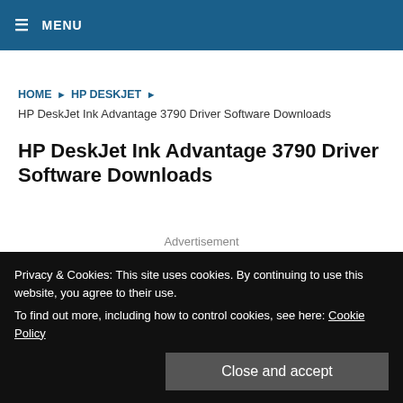≡ MENU
HOME ▶ HP DESKJET ▶
HP DeskJet Ink Advantage 3790 Driver Software Downloads
HP DeskJet Ink Advantage 3790 Driver Software Downloads
Advertisement
Privacy & Cookies: This site uses cookies. By continuing to use this website, you agree to their use.
To find out more, including how to control cookies, see here: Cookie Policy
Close and accept